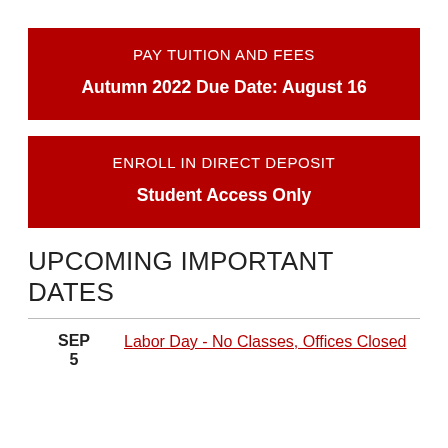[Figure (infographic): Red banner box with text: PAY TUITION AND FEES (top, uppercase) and Autumn 2022 Due Date: August 16 (bold, bottom)]
[Figure (infographic): Red banner box with text: ENROLL IN DIRECT DEPOSIT (top, uppercase) and Student Access Only (bold, bottom)]
UPCOMING IMPORTANT DATES
SEP 5 — Labor Day - No Classes, Offices Closed